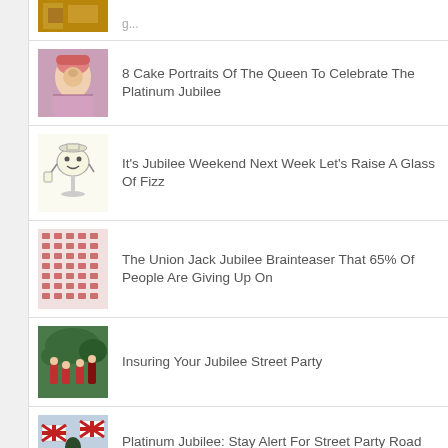[Figure (photo): Partial top article thumbnail – golden/decorative image, cropped]
[Figure (photo): Cake portrait of the Queen – illustrated/decorated cake]
8 Cake Portraits Of The Queen To Celebrate The Platinum Jubilee
[Figure (illustration): Cartoon champagne glass character holding a sign]
It's Jubilee Weekend Next Week Let's Raise A Glass Of Fizz
[Figure (photo): Union Jack pattern – red, white and blue repeated flags]
The Union Jack Jubilee Brainteaser That 65% Of People Are Giving Up On
[Figure (photo): Street party scene with people in red clothing, outdoor celebration]
Insuring Your Jubilee Street Party
[Figure (photo): Union Jack flags decorating a street party scene]
Platinum Jubilee: Stay Alert For Street Party Road Closures